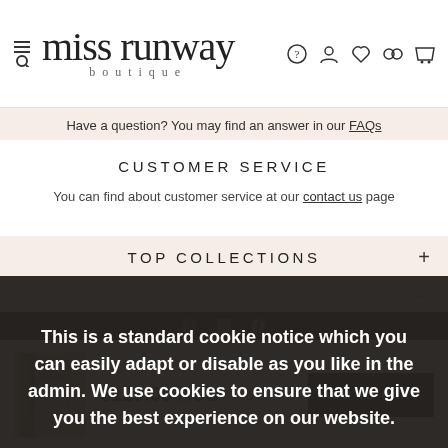[Figure (logo): Miss Runway Boutique logo with navigation icons]
Have a question? You may find an answer in our FAQs
CUSTOMER SERVICE
You can find about customer service at our contact us page
TOP COLLECTIONS
This is a standard cookie notice which you can easily adapt or disable as you like in the admin. We use cookies to ensure that we give you the best experience on our website.
PRIVACY POLICY   ACCEPT ✓
[Figure (photo): Product thumbnail of a pink dress]
$129.00 AUD
6 ▾
ADD TO CART